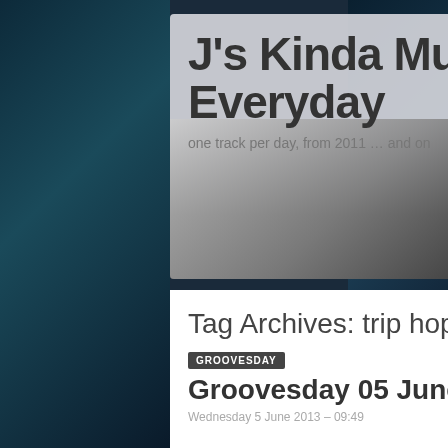J's Kinda Music Almost Everyday
one track per day, from 2011 … and on
Tag Archives: trip hop
GROOVESDAY
Groovesday 05 June 2013 – About That Time
Wednesday 5 June 2013 – 09:49